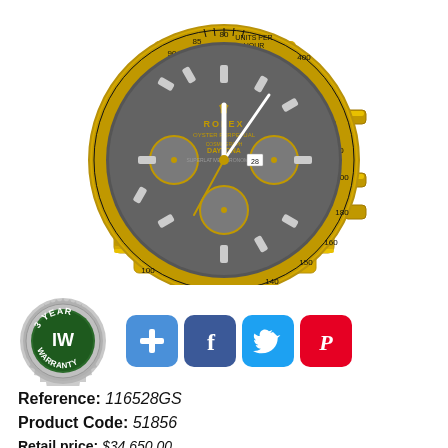[Figure (photo): Rolex Daytona gold watch with grey/slate dial and three chronograph sub-dials, gold bracelet, on white background]
[Figure (logo): 3 Year IW Warranty badge - circular silver/grey badge with dark green center, text '3 YEAR' at top, 'IW' large in center, 'WARRANTY' at bottom]
[Figure (infographic): Social sharing buttons: blue plus/add button, Facebook blue button with f logo, Twitter blue button with bird logo, Pinterest red button with P logo]
Reference: 116528GS
Product Code: 51856
Retail price: $34,650.00